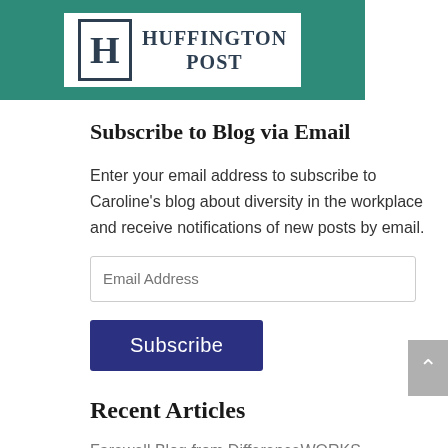[Figure (logo): Huffington Post logo: teal background with white box containing a large 'H' in a bordered square and 'HUFFINGTON POST' text in dark serif font]
Subscribe to Blog via Email
Enter your email address to subscribe to Caroline's blog about diversity in the workplace and receive notifications of new posts by email.
Recent Articles
Farewell Blog from DifferenceWORKS
It's Still Harder for Competent Women
An Imaginary Talk with My Grand-kids about